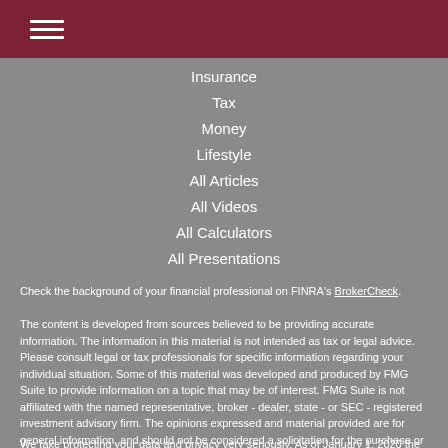Navigation menu header bar with hamburger icon
Insurance
Tax
Money
Lifestyle
All Articles
All Videos
All Calculators
All Presentations
Check the background of your financial professional on FINRA's BrokerCheck.
The content is developed from sources believed to be providing accurate information. The information in this material is not intended as tax or legal advice. Please consult legal or tax professionals for specific information regarding your individual situation. Some of this material was developed and produced by FMG Suite to provide information on a topic that may be of interest. FMG Suite is not affiliated with the named representative, broker - dealer, state - or SEC - registered investment advisory firm. The opinions expressed and material provided are for general information, and should not be considered a solicitation for the purchase or sale of any security.
We take protecting your data and privacy very seriously. As of January 1, 2020 the